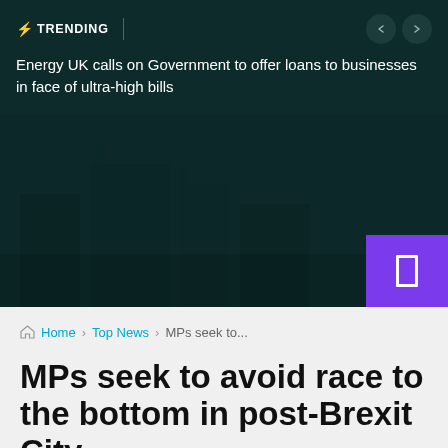⚡ TRENDING | Energy UK calls on Government to offer loans to businesses in face of ultra-high bills
[Figure (photo): Dark teal-toned image area with faint silhouettes, likely a parliamentary or city scene. A purple badge/icon is overlaid on the bottom-right corner.]
🏠 Home > Top News > MPs seek to...
MPs seek to avoid race to the bottom in post-Brexit City